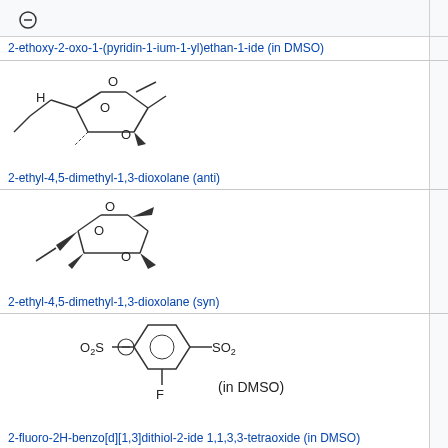[Figure (other): Chemical structure of 2-ethoxy-2-oxo-1-(pyridin-1-ium-1-yl)ethan-1-ide with negative charge symbol (in DMSO)]
2-ethoxy-2-oxo-1-(pyridin-1-ium-1-yl)ethan-1-ide (in DMSO)
[Figure (other): Chemical structure of 2-ethyl-4,5-dimethyl-1,3-dioxolane (anti) - bicyclic dioxolane ring with ethyl and methyl substituents]
2-ethyl-4,5-dimethyl-1,3-dioxolane (anti)
[Figure (other): Chemical structure of 2-ethyl-4,5-dimethyl-1,3-dioxolane (syn)]
2-ethyl-4,5-dimethyl-1,3-dioxolane (syn)
[Figure (other): Chemical structure of 2-fluoro-2H-benzo[d][1,3]dithiol-2-ide 1,1,3,3-tetraoxide with O2S and SO2 groups and F substituent (in DMSO)]
2-fluoro-2H-benzo[d][1,3]dithiol-2-ide 1,1,3,3-tetraoxide (in DMSO)
[Figure (other): Chemical structure of 2-formyl-imidazole anion with CHO group (in DMSO), imidazole ring with negative charge]
2-formyl-imidazole anion (in DMSO)
[Figure (other): Partial chemical structure visible at bottom - nitrogen-containing ring compound]